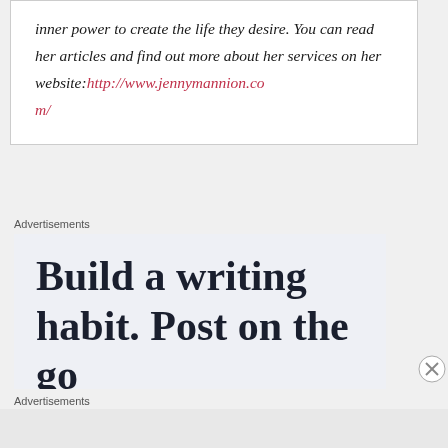inner power to create the life they desire. You can read her articles and find out more about her services on her website: http://www.jennymannion.com/
Advertisements
[Figure (other): Advertisement banner with text: Build a writing habit. Post on the go]
Advertisements